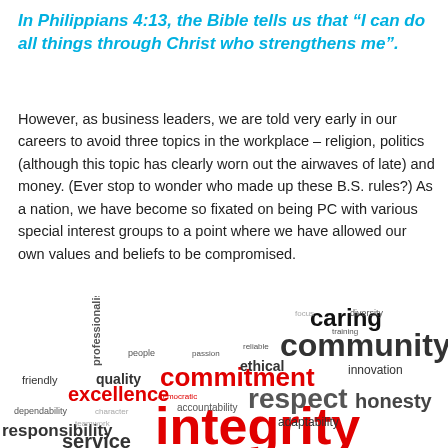In Philippians 4:13, the Bible tells us that “I can do all things through Christ who strengthens me”.
However, as business leaders, we are told very early in our careers to avoid three topics in the workplace – religion, politics (although this topic has clearly worn out the airwaves of late) and money. (Ever stop to wonder who made up these B.S. rules?) As a nation, we have become so fixated on being PC with various special interest groups to a point where we have allowed our own values and beliefs to be compromised.
[Figure (infographic): A word cloud featuring values-related words. The largest word in red is 'integrity' at the bottom center. Other prominent words include 'community' (large, dark gray, top right), 'caring' (large, dark, top right), 'commitment' (large, red, center), 'respect' (large, dark gray, center-right), 'excellence' (medium, red, left-center), 'responsibility' (medium, dark, bottom left), 'service' (medium, dark, bottom left), 'honesty' (medium, dark gray, right), 'professionalism' (rotated vertically, center), 'quality' (dark, left-center), 'ethical' (dark, center), 'innovation' (dark, right), 'adaptability' (dark, center-right), 'accountability' (dark, center), 'friendly' (dark, left), 'dependability' (dark, left), and numerous smaller words throughout.]